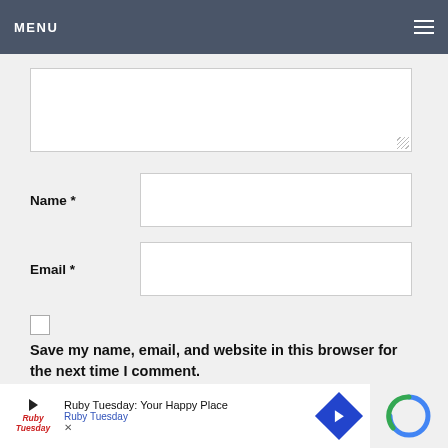MENU
Name *
Email *
Save my name, email, and website in this browser for the next time I comment.
Post Comment
Ruby Tuesday: Your Happy Place  Ruby Tuesday